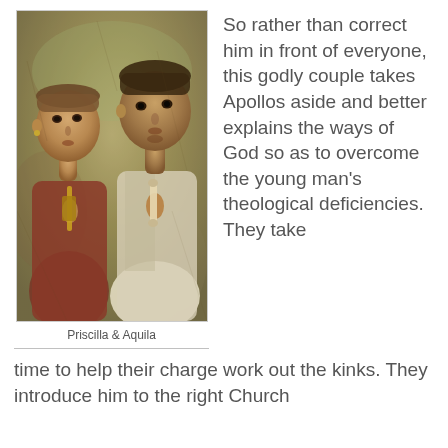[Figure (illustration): Ancient Roman fresco-style painting depicting two figures, Priscilla and Aquila, facing forward. A woman on the left holds a stylus and wax tablet, and a man on the right holds a scroll. The painting has aged, muted earth tones typical of Pompeian frescoes.]
Priscilla & Aquila
So rather than correct him in front of everyone, this godly couple takes Apollos aside and better explains the ways of God so as to overcome the young man's theological deficiencies. They take time to help their charge work out the kinks. They introduce him to the right Church